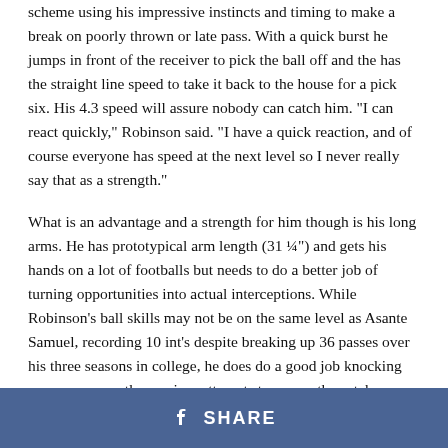scheme using his impressive instincts and timing to make a break on poorly thrown or late pass. With a quick burst he jumps in front of the receiver to pick the ball off and the has the straight line speed to take it back to the house for a pick six. His 4.3 speed will assure nobody can catch him. "I can react quickly," Robinson said. "I have a quick reaction, and of course everyone has speed at the next level so I never really say that as a strength."
What is an advantage and a strength for him though is his long arms. He has prototypical arm length (31 ¼") and gets his hands on a lot of footballs but needs to do a better job of turning opportunities into actual interceptions. While Robinson's ball skills may not be on the same level as Asante Samuel, recording 10 int's despite breaking up 36 passes over his three seasons in college, he does do a good job knocking passes away as the receiver attempts to secure the catch.
SHARE